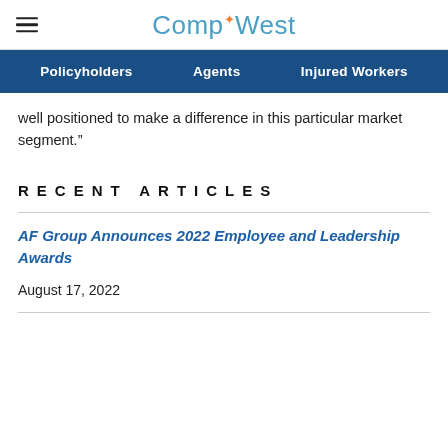CompWest
Policyholders | Agents | Injured Workers
well positioned to make a difference in this particular market segment.”
RECENT ARTICLES
AF Group Announces 2022 Employee and Leadership Awards
August 17, 2022